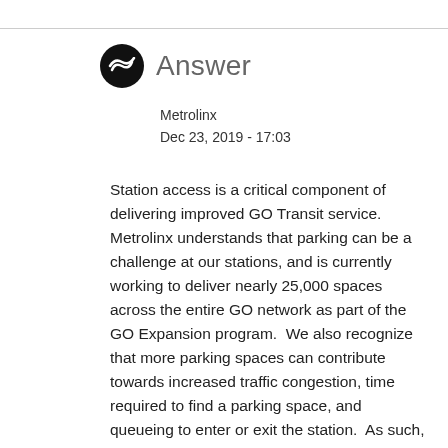Answer
Metrolinx
Dec 23, 2019 - 17:03
Station access is a critical component of delivering improved GO Transit service. Metrolinx understands that parking can be a challenge at our stations, and is currently working to deliver nearly 25,000 spaces across the entire GO network as part of the GO Expansion program. We also recognize that more parking spaces can contribute towards increased traffic congestion, time required to find a parking space, and queueing to enter or exit the station. As such, Metrolinx is investing in more sustainable modes of access to accomodate future ridership growth by supporting a shift towards